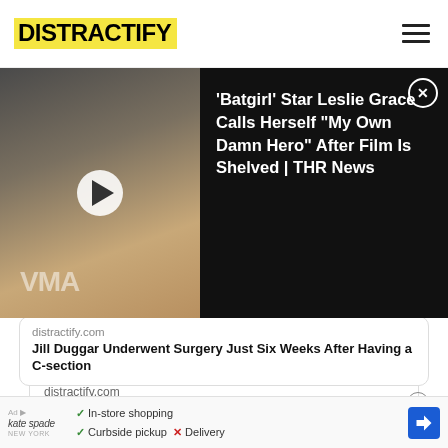DISTRACTIFY
[Figure (screenshot): Video thumbnail showing a woman at an awards event, with play button overlay. Title: 'Batgirl' Star Leslie Grace Calls Herself "My Own Damn Hero" After Film Is Shelved | THR News]
[Figure (photo): Cropped photo of a person in a blue-gray top, sitting outdoors near a wooden fence.]
distractify.com
Jill Duggar Underwent Surgery Just Six Weeks After Having a C-section
4:52 PM · Aug 23, 2022
1  Reply  Copy link
Read 2 replies
In-store shopping  Curbside pickup  Delivery